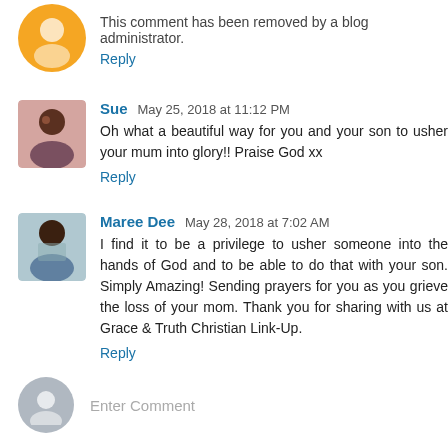This comment has been removed by a blog administrator.
Reply
Sue  May 25, 2018 at 11:12 PM
Oh what a beautiful way for you and your son to usher your mum into glory!! Praise God xx
Reply
Maree Dee  May 28, 2018 at 7:02 AM
I find it to be a privilege to usher someone into the hands of God and to be able to do that with your son. Simply Amazing! Sending prayers for you as you grieve the loss of your mom. Thank you for sharing with us at Grace & Truth Christian Link-Up.
Reply
Enter Comment